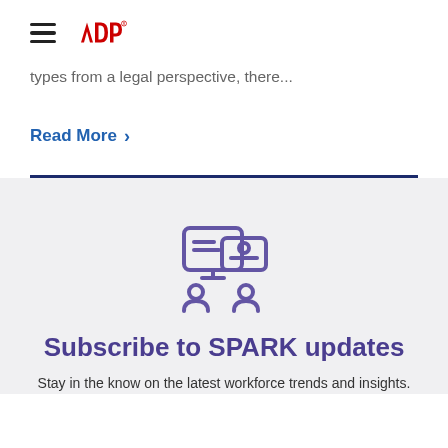ADP (logo and hamburger menu)
types from a legal perspective, there...
Read More >
[Figure (illustration): ADP Spark community/people icon in purple outline style]
Subscribe to SPARK updates
Stay in the know on the latest workforce trends and insights.